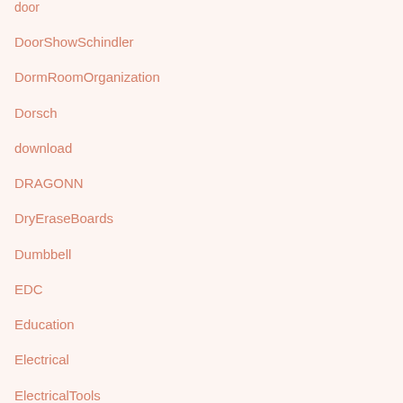door
DoorShowSchindler
DormRoomOrganization
Dorsch
download
DRAGONN
DryEraseBoards
Dumbbell
EDC
Education
Electrical
ElectricalTools
ElectricCars
Electricity
ElectricMulti